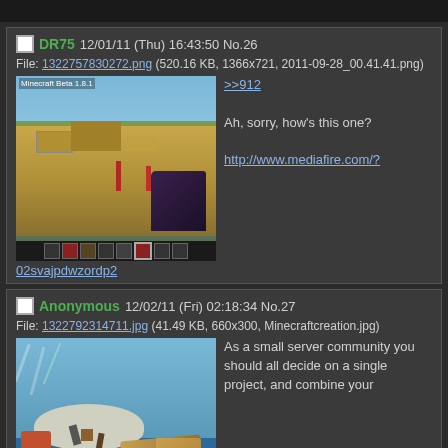[top bar]
DR75 12/01/11 (Thu) 16:43:50 No.26
File: 1322757830272.png (520.16 KB, 1366x721, 2011-09-28_00.41.41.png)
[Figure (screenshot): Minecraft Beta 1.8.1 screenshot showing desert biome with sand terrain, red torches/objects in distance, and player holding dark item/weapon, with toolbar at bottom]
>>912
Ah, sorry, how's this one?
http://www.mediafire.com/?02svajpdwzordp2
Anonymous 12/02/11 (Fri) 02:18:34 No.27
File: 1322792314711.jpg (41.49 KB, 660x300, Minecraftcreation.jpg)
[Figure (screenshot): Minecraft creation screenshot showing an island with a large rope/wood structure spanning water, with a deer/horse on the island and various colored blocks]
As a small server community you should all decide on a single project, and combine your efforts towards finishing it. If you do there's a good chance you might accomplish something magnificent